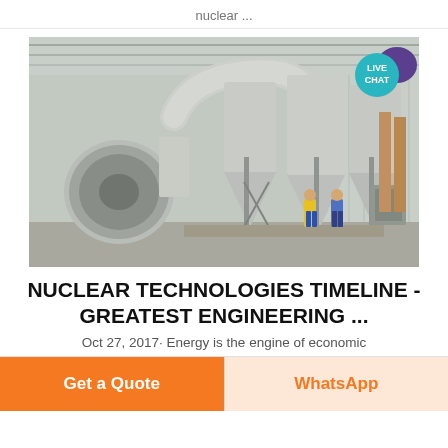nuclear ...
[Figure (photo): Industrial facility interior showing large cyclone dust separators and ductwork with two workers in high-visibility clothing standing at the base of the equipment]
NUCLEAR TECHNOLOGIES TIMELINE - GREATEST ENGINEERING ...
Oct 27, 2017· Energy is the engine of economic
Get a Quote
WhatsApp